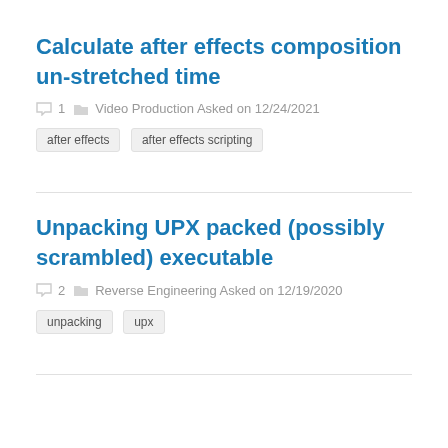Calculate after effects composition un-stretched time
1  Video Production Asked on 12/24/2021
after effects
after effects scripting
Unpacking UPX packed (possibly scrambled) executable
2  Reverse Engineering Asked on 12/19/2020
unpacking
upx